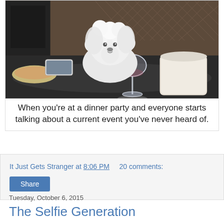[Figure (photo): A small white fluffy dog with its head visible over a dinner table, next to a wine glass and a large white bucket/container. A phone and plate are also visible on the dark table. Background shows a lattice fence.]
When you're at a dinner party and everyone starts talking about a current event you've never heard of.
It Just Gets Stranger at 8:06 PM   20 comments:
Share
Tuesday, October 6, 2015
The Selfie Generation